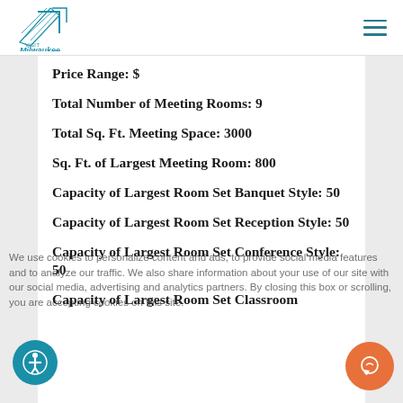Visit Milwaukee
Price Range: $
Total Number of Meeting Rooms: 9
Total Sq. Ft. Meeting Space: 3000
Sq. Ft. of Largest Meeting Room: 800
Capacity of Largest Room Set Banquet Style: 50
Capacity of Largest Room Set Reception Style: 50
Capacity of Largest Room Set Conference Style: 50
Capacity of Largest Room Set Classroom